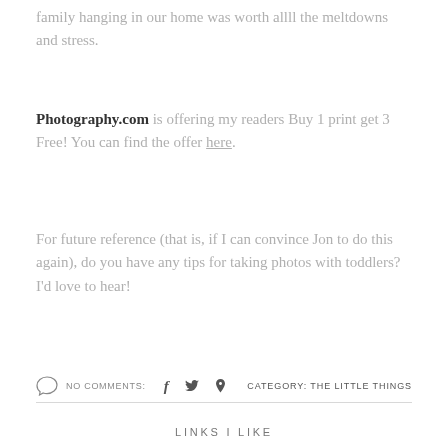family hanging in our home was worth allll the meltdowns and stress.
Photography.com is offering my readers Buy 1 print get 3 Free! You can find the offer here.
For future reference (that is, if I can convince Jon to do this again), do you have any tips for taking photos with toddlers?  I'd love to hear!
NO COMMENTS:  f  [twitter]  [pinterest]  CATEGORY: THE LITTLE THINGS
LINKS I LIKE